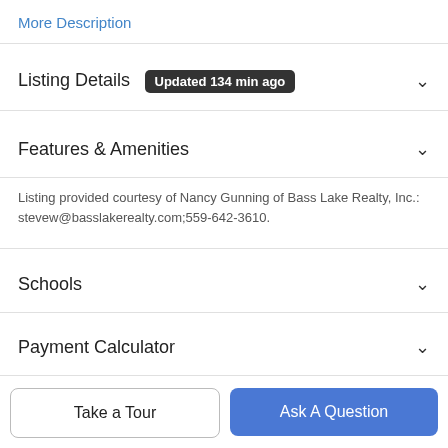More Description
Listing Details  Updated 134 min ago
Features & Amenities
Listing provided courtesy of Nancy Gunning of Bass Lake Realty, Inc.: stevew@basslakerealty.com;559-642-3610.
Schools
Payment Calculator
Contact Agent
Take a Tour
Ask A Question